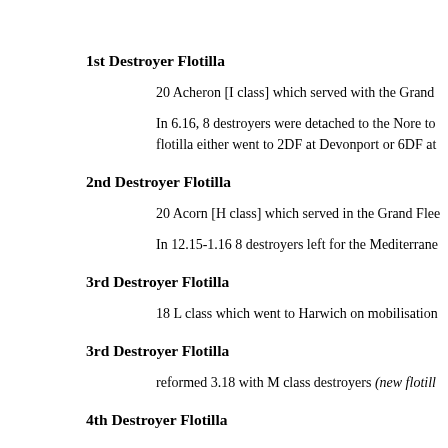1st Destroyer Flotilla
20 Acheron [I class] which served with the Grand
In 6.16, 8 destroyers were detached to the Nore to flotilla either went to 2DF at Devonport or 6DF at
2nd Destroyer Flotilla
20 Acorn [H class] which served in the Grand Flee
In 12.15-1.16 8 destroyers left for the Mediterrane
3rd Destroyer Flotilla
18 L class which went to Harwich on mobilisation
3rd Destroyer Flotilla
reformed 3.18 with M class destroyers (new flotill
4th Destroyer Flotilla